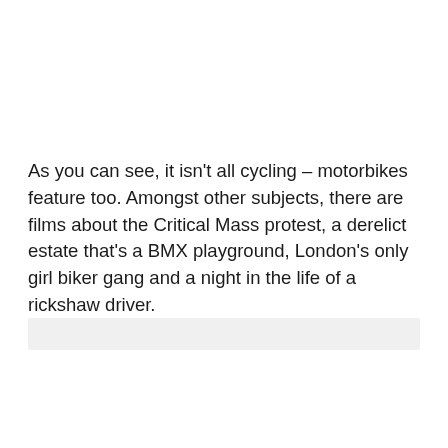As you can see, it isn't all cycling – motorbikes feature too. Amongst other subjects, there are films about the Critical Mass protest, a derelict estate that's a BMX playground, London's only girl biker gang and a night in the life of a rickshaw driver.